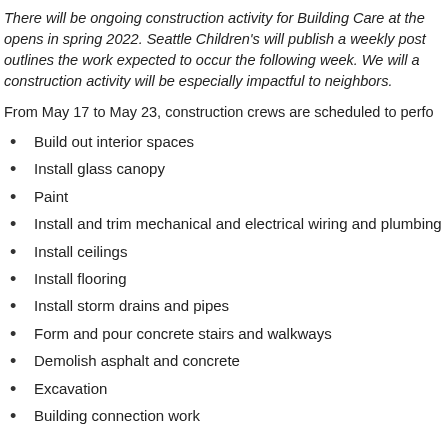There will be ongoing construction activity for Building Care at the opens in spring 2022. Seattle Children's will publish a weekly post outlines the work expected to occur the following week. We will a construction activity will be especially impactful to neighbors.
From May 17 to May 23, construction crews are scheduled to perfo
Build out interior spaces
Install glass canopy
Paint
Install and trim mechanical and electrical wiring and plumbing
Install ceilings
Install flooring
Install storm drains and pipes
Form and pour concrete stairs and walkways
Demolish asphalt and concrete
Excavation
Building connection work